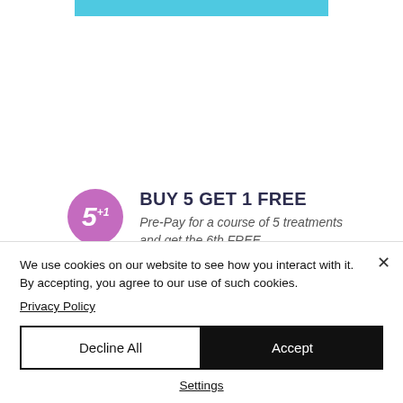[Figure (other): Cyan/teal colored button strip at top of page, partially visible]
BUY 5 GET 1 FREE
Pre-Pay for a course of 5 treatments and get the 6th FREE.
We use cookies on our website to see how you interact with it. By accepting, you agree to our use of such cookies.
Privacy Policy
Decline All
Accept
Settings